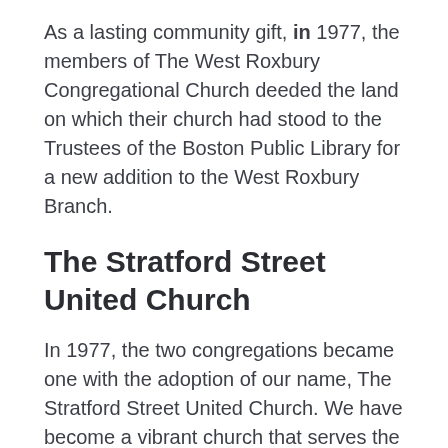As a lasting community gift, in 1977, the members of The West Roxbury Congregational Church deeded the land on which their church had stood to the Trustees of the Boston Public Library for a new addition to the West Roxbury Branch.
The Stratford Street United Church
In 1977, the two congregations became one with the adoption of our name, The Stratford Street United Church. We have become a vibrant church that serves the local area through mission (food pantry and others), outreach, and community programs. Additionally we enthusiastically share our